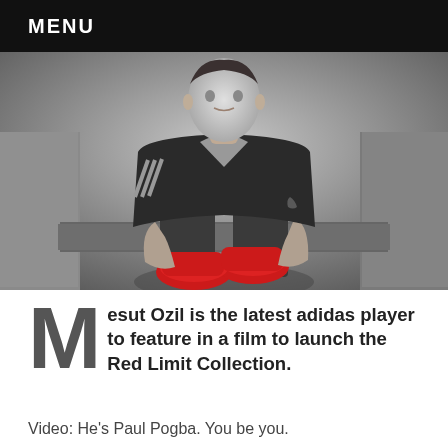MENU
[Figure (photo): Black and white photo of Mesut Ozil, a football player, seated and holding red adidas football boots, wearing an adidas jersey with tattoo visible on right forearm. Locker room/bench setting.]
Mesut Ozil is the latest adidas player to feature in a film to launch the Red Limit Collection.
Video: He's Paul Pogba. You be you.